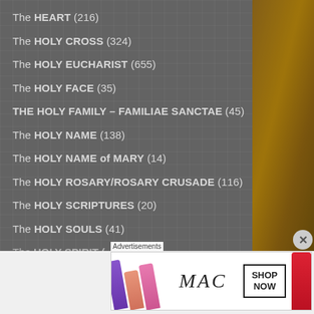The HEART (216)
The HOLY CROSS (324)
The HOLY EUCHARIST (655)
The HOLY FACE (35)
THE HOLY FAMILY – FAMILIAE SANCTAE (45)
The HOLY NAME (138)
The HOLY NAME of MARY (14)
The HOLY ROSARY/ROSARY CRUSADE (116)
The HOLY SCRIPTURES (20)
The HOLY SOULS (41)
The HOLY SPIRIT (...)
Advertisements
[Figure (other): MAC Cosmetics advertisement showing lipsticks with SHOP NOW text]